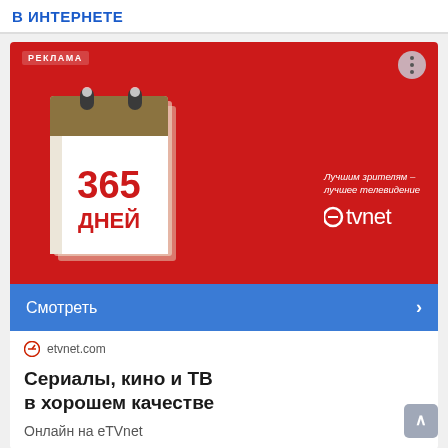В ИНТЕРНЕТЕ
[Figure (screenshot): Online advertisement for etvnet.com showing a calendar with '365 ДНЕЙ' on a red background, blue 'Смотреть' CTA button, etvnet.com URL, and ad text 'Сериалы, кино и ТВ в хорошем качестве. Онлайн на eTVnet']
etvnet.com
Сериалы, кино и ТВ в хорошем качестве
Онлайн на eTVnet